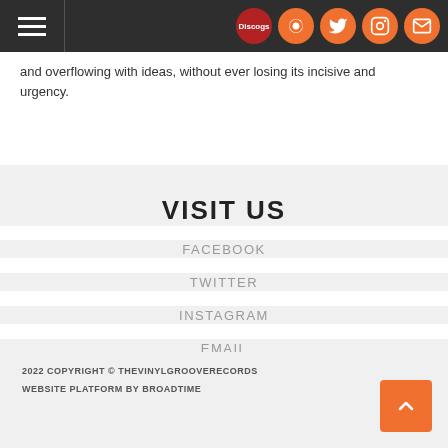Navigation header with hamburger menu and social icons: Discogs, Facebook, Twitter, Instagram, Email
and overflowing with ideas, without ever losing its incisive and urgency.
VISIT US
FACEBOOK
TWITTER
INSTAGRAM
EMAIL
2022 COPYRIGHT © THEVINYLGROOVERECORDS
WEBSITE PLATFORM BY BROADTIME